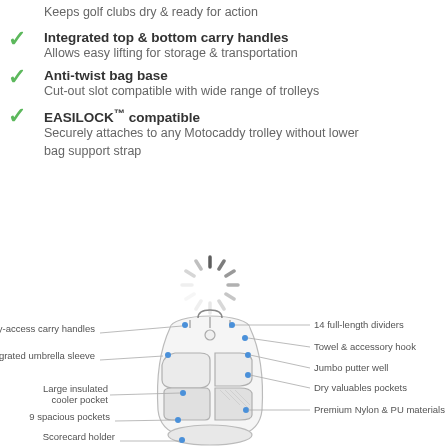Keeps golf clubs dry & ready for action
Integrated top & bottom carry handles — Allows easy lifting for storage & transportation
Anti-twist bag base — Cut-out slot compatible with wide range of trolleys
EASILOCK™ compatible — Securely attaches to any Motocaddy trolley without lower bag support strap
[Figure (engineering-diagram): Annotated diagram of a golf bag showing labeled features: Easy-access carry handles, Integrated umbrella sleeve, Large insulated cooler pocket, 9 spacious pockets, Scorecard holder, 14 full-length dividers, Towel & accessory hook, Jumbo putter well, Dry valuables pockets, Premium Nylon & PU materials. A loading spinner overlay is shown on top of the bag diagram.]